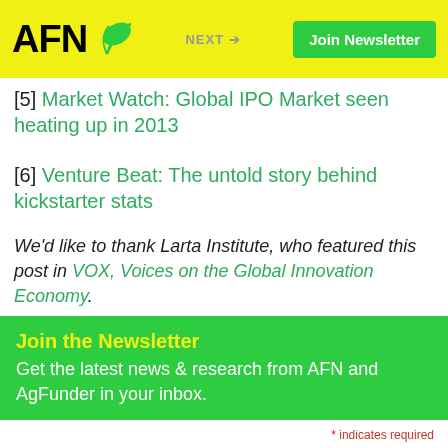AFN - Join Newsletter - NEXT
[5] Market Watch: Global IPO Market seen heating up in 2013
[6] Venture Beat: The untold story behind kickstarter stats
We’d like to thank Larta Institute, who featured this post in VOX, Voices on the Global Innovation Economy.
agriculture, crowdfunding, SEC
Join the Newsletter
Get the latest news & research from AFN and AgFunder in your inbox.
* indicates required